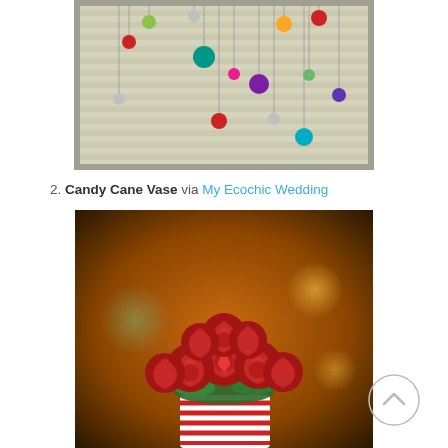[Figure (photo): Christmas ornaments hanging from window blinds on strings, various colors including red, teal, blue, purple, silver, green, and gold.]
2. Candy Cane Vase via My Ecochic Wedding
[Figure (photo): A bouquet of red roses arranged in a vase wrapped with candy canes, set against a warm bokeh background.]